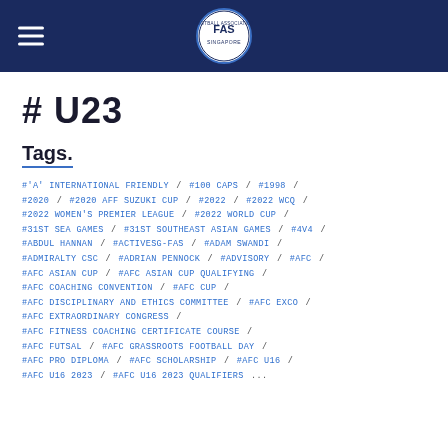[Figure (logo): FAS (Football Association of Singapore) logo in the center of a dark navy header bar, with a hamburger menu icon on the left]
# U23
Tags.
#'A' INTERNATIONAL FRIENDLY / #100 CAPS / #1998 / #2020 / #2020 AFF SUZUKI CUP / #2022 / #2022 WCQ / #2022 WOMEN'S PREMIER LEAGUE / #2022 WORLD CUP / #31ST SEA GAMES / #31ST SOUTHEAST ASIAN GAMES / #4V4 / #ABDUL HANNAN / #ACTIVESG-FAS / #ADAM SWANDI / #ADMIRALTY CSC / #ADRIAN PENNOCK / #ADVISORY / #AFC / #AFC ASIAN CUP / #AFC ASIAN CUP QUALIFYING / #AFC COACHING CONVENTION / #AFC CUP / #AFC DISCIPLINARY AND ETHICS COMMITTEE / #AFC EXCO / #AFC EXTRAORDINARY CONGRESS / #AFC FITNESS COACHING CERTIFICATE COURSE / #AFC FUTSAL / #AFC GRASSROOTS FOOTBALL DAY / #AFC PRO DIPLOMA / #AFC SCHOLARSHIP / #AFC U16 / #AFC U16 2023 / #AFC U16 2023 QUALIFIERS